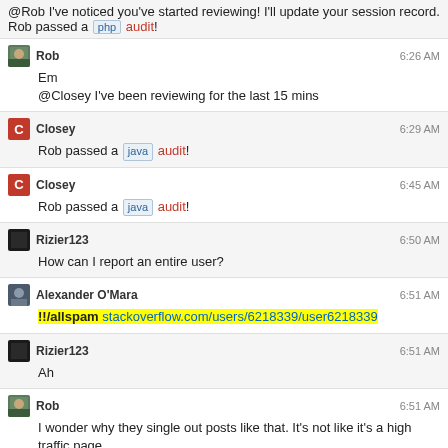@Rob I've noticed you've started reviewing! I'll update your session record.
Rob passed a php audit!
Rob 6:26 AM
Em
@Closey I've been reviewing for the last 15 mins
Closey 6:29 AM
Rob passed a java audit!
Closey 6:45 AM
Rob passed a java audit!
Rizier123 6:50 AM
How can I report an entire user?
Alexander O'Mara 6:51 AM
!!/allspam stackoverflow.com/users/6218339/user6218339
Rizier123 6:51 AM
Ah
Rob 6:51 AM
I wonder why they single out posts like that. It's not like it's a high traffic page
Closey 7:08 AM
An error happened in UserTracking (cc @Sam)